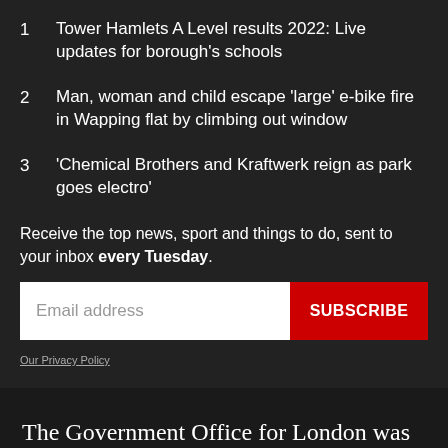1  Tower Hamlets A Level results 2022: Live updates for borough's schools
2  Man, woman and child escape 'large' e-bike fire in Wapping flat by climbing out window
3  'Chemical Brothers and Kraftwerk reign as park goes electro'
Receive the top news, sport and things to do, sent to your inbox every Tuesday.
Email address
SUBSCRIBE
Our Privacy Policy
The Government Office for London was set up to fill a